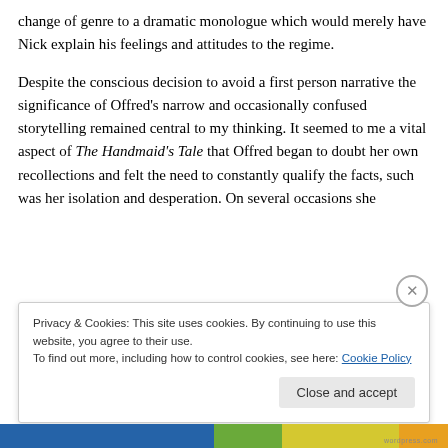change of genre to a dramatic monologue which would merely have Nick explain his feelings and attitudes to the regime.
Despite the conscious decision to avoid a first person narrative the significance of Offred's narrow and occasionally confused storytelling remained central to my thinking. It seemed to me a vital aspect of The Handmaid's Tale that Offred began to doubt her own recollections and felt the need to constantly qualify the facts, such was her isolation and desperation. On several occasions she
Privacy & Cookies: This site uses cookies. By continuing to use this website, you agree to their use.
To find out more, including how to control cookies, see here: Cookie Policy